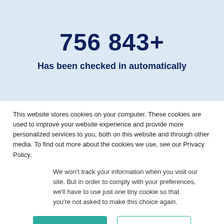756 843+
Has been checked in automatically
This website stores cookies on your computer. These cookies are used to improve your website experience and provide more personalized services to you, both on this website and through other media. To find out more about the cookies we use, see our Privacy Policy.
We won't track your information when you visit our site. But in order to comply with your preferences, we'll have to use just one tiny cookie so that you're not asked to make this choice again.
Accept | Decline